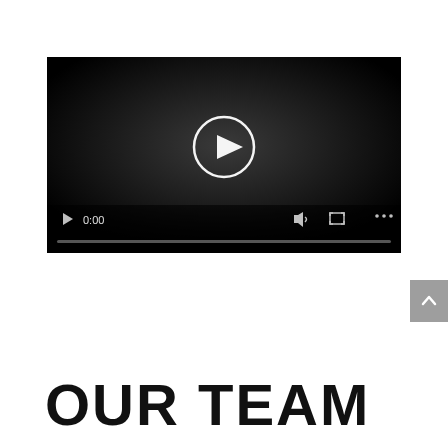[Figure (screenshot): Video player with dark background, centered play button (circle with triangle), time display showing 0:00, volume icon, fullscreen icon, more options icon, and a progress bar at the bottom]
OUR TEAM